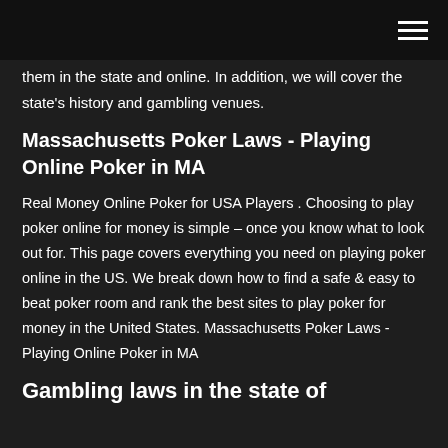them in the state and online. In addition, we will cover the state's history and gambling venues.
Massachusetts Poker Laws - Playing Online Poker in MA
Real Money Online Poker for USA Players . Choosing to play poker online for money is simple – once you know what to look out for. This page covers everything you need on playing poker online in the US. We break down how to find a safe & easy to beat poker room and rank the best sites to play poker for money in the United States. Massachusetts Poker Laws - Playing Online Poker in MA
Gambling laws in the state of